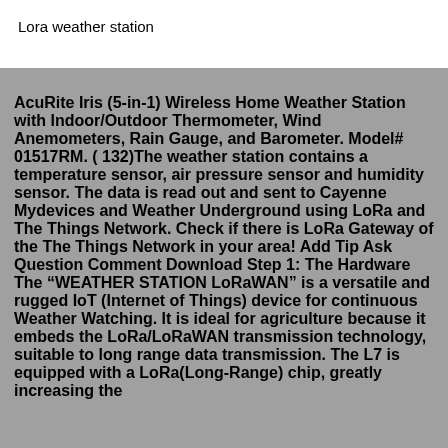Lora weather station
AcuRite Iris (5-in-1) Wireless Home Weather Station with Indoor/Outdoor Thermometer, Wind Anemometers, Rain Gauge, and Barometer. Model# 01517RM. ( 132)The weather station contains a temperature sensor, air pressure sensor and humidity sensor. The data is read out and sent to Cayenne Mydevices and Weather Underground using LoRa and The Things Network. Check if there is LoRa Gateway of the The Things Network in your area! Add Tip Ask Question Comment Download Step 1: The Hardware The “WEATHER STATION LoRaWAN” is a versatile and rugged IoT (Internet of Things) device for continuous Weather Watching. It is ideal for agriculture because it embeds the LoRa/LoRaWAN transmission technology, suitable to long range data transmission. The L7 is equipped with a LoRa(Long-Range) chip, greatly increasing the